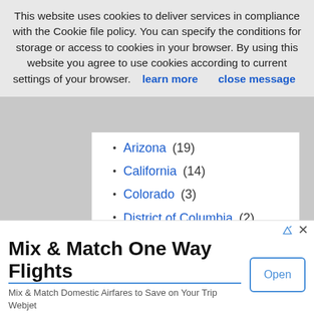This website uses cookies to deliver services in compliance with the Cookie file policy. You can specify the conditions for storage or access to cookies in your browser. By using this website you agree to use cookies according to current settings of your browser. learn more   close message
Arizona (19)
California (14)
Colorado (3)
District of Columbia (2)
Florida (4)
Idaho (2)
Illinois (3)
Kansas (1)
Louisiana (2)
Massachusetts (2)
Missouri (1)
Mix & Match One Way Flights
Mix & Match Domestic Airfares to Save on Your Trip Webjet